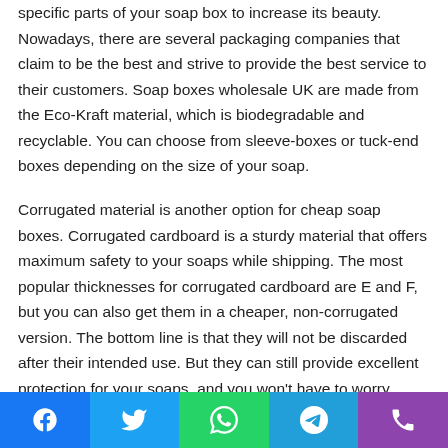specific parts of your soap box to increase its beauty. Nowadays, there are several packaging companies that claim to be the best and strive to provide the best service to their customers. Soap boxes wholesale UK are made from the Eco-Kraft material, which is biodegradable and recyclable. You can choose from sleeve-boxes or tuck-end boxes depending on the size of your soap.
Corrugated material is another option for cheap soap boxes. Corrugated cardboard is a sturdy material that offers maximum safety to your soaps while shipping. The most popular thicknesses for corrugated cardboard are E and F, but you can also get them in a cheaper, non-corrugated version. The bottom line is that they will not be discarded after their intended use. But they can still provide excellent protection for your soaps, and you won't have to worry about their safety in
Social share buttons: Facebook, Twitter, WhatsApp, Telegram, Phone